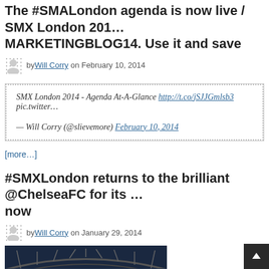The #SMALondon agenda is now live / SMX London 2014 MARKETINGBLOG14. Use it and save
by Will Corry on February 10, 2014
SMX London 2014 - Agenda At-A-Glance http://t.co/jSJJGmlsb3 pic.twitter…
— Will Corry (@slievemore) February 10, 2014
[more…]
#SMXLondon returns to the brilliant @ChelseaFC for its … now
by Will Corry on January 29, 2014
[Figure (photo): Interior view of Chelsea FC stadium showing the curved roof structure and seating area with blue and white tones]